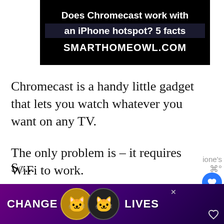[Figure (screenshot): Website thumbnail banner showing text 'Does Chromecast work with an iPhone hotspot? 5 facts' and 'SMARTHOMEOWL.COM' on a dark background]
Chromecast is a handy little gadget that lets you watch whatever you want on any TV.
The only problem is – it requires WiFi to work.
So...
[Figure (illustration): Advertisement banner with purple gradient background showing two cat faces and text 'CHANGE LIVES']